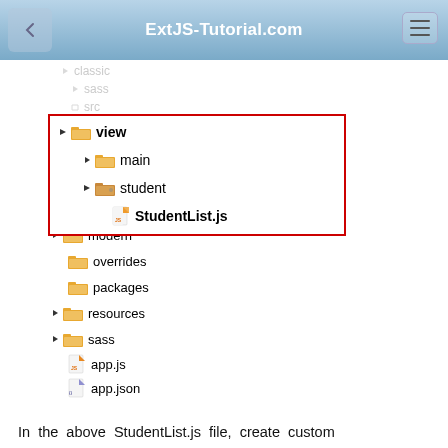ExtJS-Tutorial.com
[Figure (screenshot): IDE file tree showing classic/sass/src folders at top (faded), then a red-outlined box highlighting view/main and view/student/StudentList.js, followed by modern, overrides, packages, resources, sass folders and app.js, app.json, bootstrap.css, bootstrap.js, build.xml, classic.json, Default.html, index.html, modern.json, Readme.md files]
In the above StudentList.js file, create custom